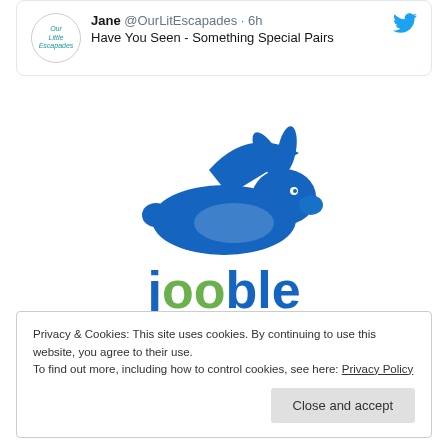[Figure (screenshot): Tweet card from Jane @OurLitEscapades posted 6h ago, with text 'Have You Seen - Something Special Pairs', showing Twitter bird icon and circular profile avatar for 'Our Little Escapades']
[Figure (logo): Jooble logo: blue rabbit/hare leaping above the word 'jooble' (j, ble in blue; oo in green), with tagline 'Autism support worker' in blue below]
Privacy & Cookies: This site uses cookies. By continuing to use this website, you agree to their use.
To find out more, including how to control cookies, see here: Privacy Policy
Close and accept